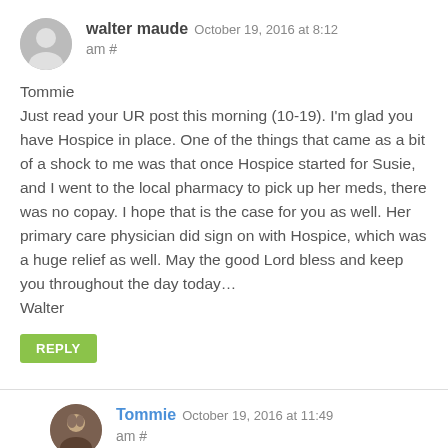walter maude October 19, 2016 at 8:12 am #
Tommie
Just read your UR post this morning (10-19). I'm glad you have Hospice in place. One of the things that came as a bit of a shock to me was that once Hospice started for Susie, and I went to the local pharmacy to pick up her meds, there was no copay. I hope that is the case for you as well. Her primary care physician did sign on with Hospice, which was a huge relief as well. May the good Lord bless and keep you throughout the day today…
Walter
REPLY
Tommie October 19, 2016 at 11:49 am #